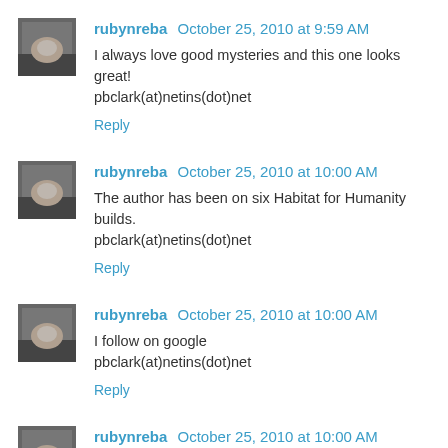rubynreba  October 25, 2010 at 9:59 AM
I always love good mysteries and this one looks great! pbclark(at)netins(dot)net
Reply
rubynreba  October 25, 2010 at 10:00 AM
The author has been on six Habitat for Humanity builds. pbclark(at)netins(dot)net
Reply
rubynreba  October 25, 2010 at 10:00 AM
I follow on google pbclark(at)netins(dot)net
Reply
rubynreba  October 25, 2010 at 10:00 AM